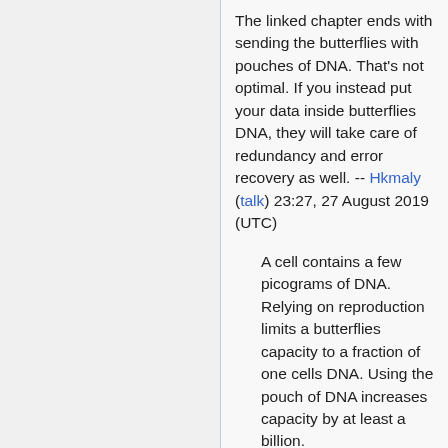The linked chapter ends with sending the butterflies with pouches of DNA. That's not optimal. If you instead put your data inside butterflies DNA, they will take care of redundancy and error recovery as well. -- Hkmaly (talk) 23:27, 27 August 2019 (UTC)
A cell contains a few picograms of DNA. Relying on reproduction limits a butterflies capacity to a fraction of one cells DNA. Using the pouch of DNA increases capacity by at least a billion. 172.68.206.88 06:55, 28 August 2019 (UTC)